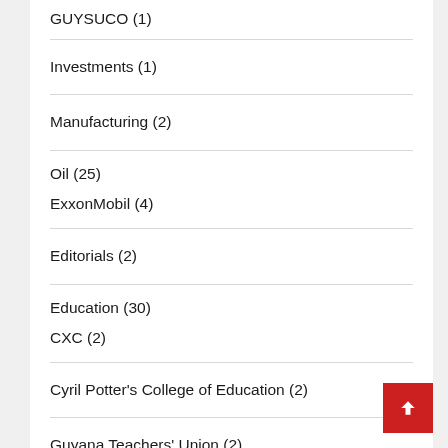GUYSUCO (1)
Investments (1)
Manufacturing (2)
Oil (25)
ExxonMobil (4)
Editorials (2)
Education (30)
CXC (2)
Cyril Potter's College of Education (2)
Guyana Teachers' Union (2)